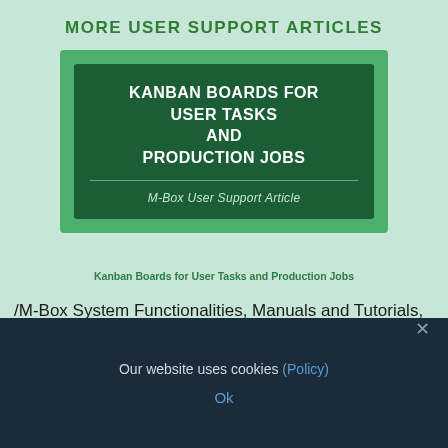MORE USER SUPPORT ARTICLES
[Figure (illustration): Article thumbnail image showing a dark green card with white bold text 'KANBAN BOARDS FOR USER TASKS AND PRODUCTION JOBS' on a medium green background, with italic subtitle 'M-Box User Support Article']
Kanban Boards for User Tasks and Production Jobs
/M-Box System Functionalities, Manuals and Tutorials,
Our website uses cookies (Policy)
Ok